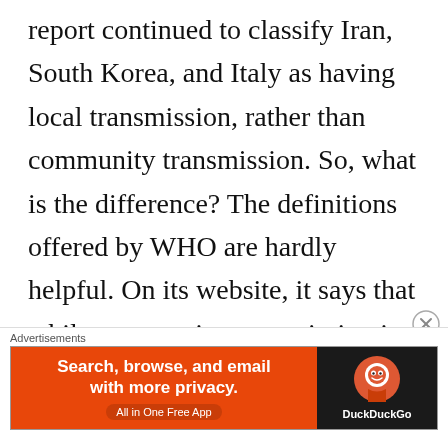report continued to classify Iran, South Korea, and Italy as having local transmission, rather than community transmission. So, what is the difference? The definitions offered by WHO are hardly helpful. On its website, it says that while community transmission is evidenced by the inability to relate confirmed cases through chains of
[Figure (other): DuckDuckGo advertisement banner with orange left panel reading 'Search, browse, and email with more privacy. All in One Free App' and dark right panel with DuckDuckGo logo and name.]